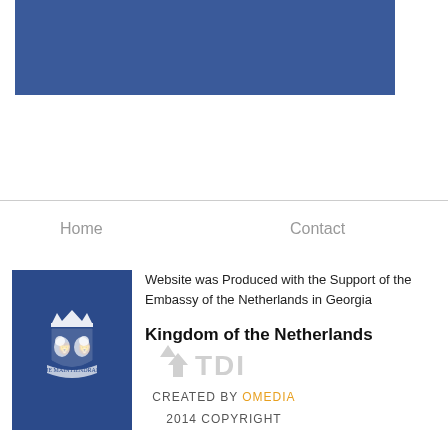[Figure (other): Blue banner/header rectangle at top of page]
Home
Contact
[Figure (logo): Kingdom of the Netherlands embassy logo — dark blue rectangle with white coat of arms]
Website was Produced with the Support of the Embassy of the Netherlands in Georgia
Kingdom of the Netherlands
[Figure (logo): TDI logo — light gray arrow and TDI text]
CREATED BY OMEDIA
2014 COPYRIGHT